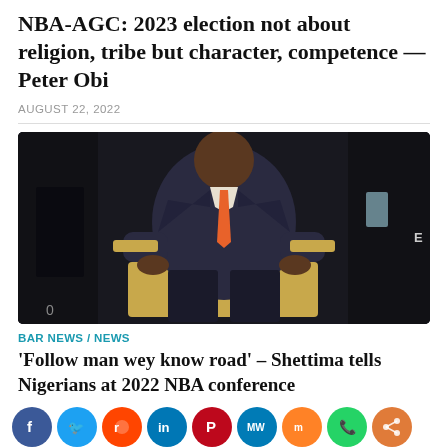NBA-AGC: 2023 election not about religion, tribe but character, competence — Peter Obi
AUGUST 22, 2022
[Figure (photo): A man in a dark suit with an orange tie sitting in a chair at an event or conference setting.]
BAR NEWS / NEWS
'Follow man wey know road' – Shettima tells Nigerians at 2022 NBA conference
[Figure (infographic): Social media sharing icons row: Facebook, Twitter, Reddit, LinkedIn, Pinterest, MeWe, Mix, WhatsApp, Share]